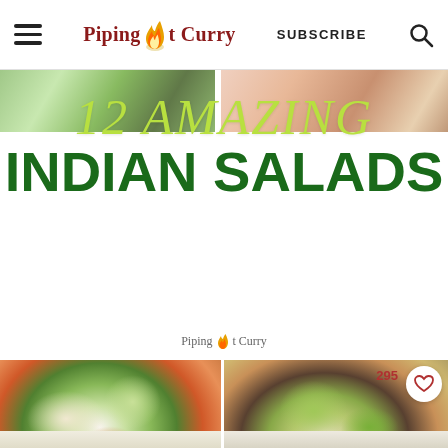Piping Pot Curry | SUBSCRIBE
[Figure (photo): Hero banner image for '12 Amazing Indian Salads' article on Piping Pot Curry website, showing the article title overlaid on food photos]
[Figure (photo): Two food photos side by side: left shows a colorful avocado and tomato Indian salad in a white bowl, right shows a mixed bean/corn salad in a white bowl with 295 saves counter and heart button visible]
[Figure (photo): Partial view of two more food photos at the bottom of the page, partially cut off]